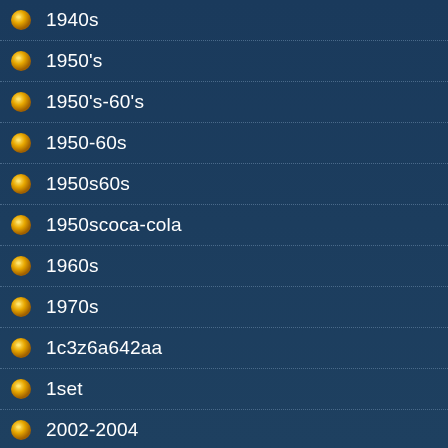1940s
1950's
1950's-60's
1950-60s
1950s60s
1950scoca-cola
1960s
1970s
1c3z6a642aa
1set
2002-2004
2005-2008
2012-18
20in
220v